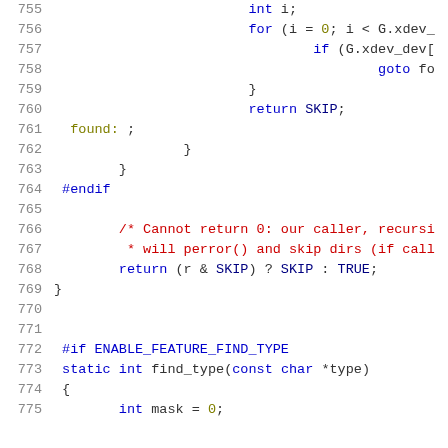[Figure (screenshot): Source code listing lines 755-775 showing C code with syntax highlighting. Line numbers in gray on left, preprocessor directives in blue, comments in red, keywords and identifiers in dark blue and olive colors.]